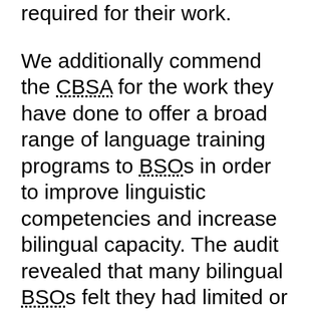required for their work. We additionally commend the CBSA for the work they have done to offer a broad range of language training programs to BSOs in order to improve linguistic competencies and increase bilingual capacity. The audit revealed that many bilingual BSOs felt they had limited or no access to these learning opportunities. We believe that the Agency must go beyond communication of currently available resources and work to increase the availability and accessibility of learning opportunities